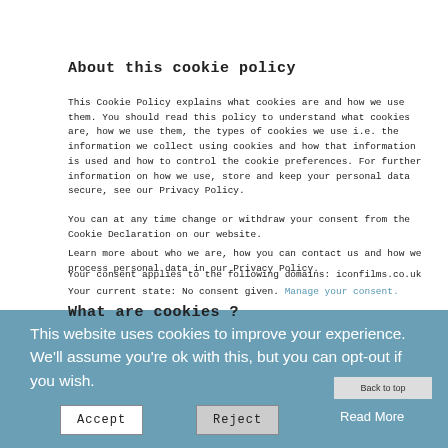About this cookie policy
This Cookie Policy explains what cookies are and how we use them. You should read this policy to understand what cookies are, how we use them, the types of cookies we use i.e. the information we collect using cookies and how that information is used and how to control the cookie preferences. For further information on how we use, store and keep your personal data secure, see our Privacy Policy.
You can at any time change or withdraw your consent from the Cookie Declaration on our website.
Learn more about who we are, how you can contact us and how we process personal data in our Privacy Policy.
Your consent applies to the following domains: iconfilms.co.uk
Your current state: No consent given. Manage your consent.
What are cookies ?
This website uses cookies to improve your experience. We'll assume you're ok with this, but you can opt-out if you wish.
Accept
Reject
Read More
Back to top